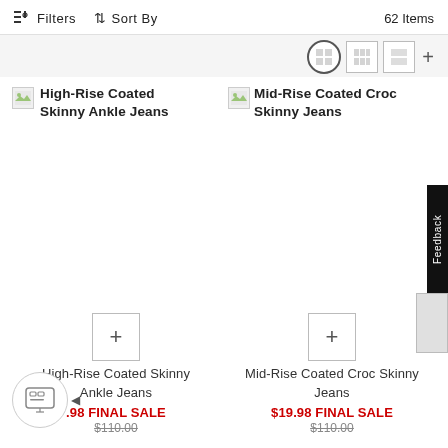Filters   Sort By   62 Items
High-Rise Coated Skinny Ankle Jeans
Mid-Rise Coated Croc Skinny Jeans
High-Rise Coated Skinny Ankle Jeans
$19.98 FINAL SALE  $110.00
Mid-Rise Coated Croc Skinny Jeans
$19.98 FINAL SALE  $110.00